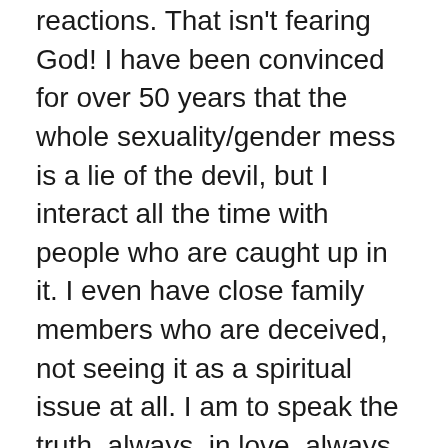reactions. That isn't fearing God! I have been convinced for over 50 years that the whole sexuality/gender mess is a lie of the devil, but I interact all the time with people who are caught up in it. I even have close family members who are deceived, not seeing it as a spiritual issue at all. I am to speak the truth, always, in love, always, knowing that my wisdom is not up to the task but God's is. I am to represent Him, not with any sense of pride but with a total commitment to being available to Him, for Him to speak through and otherwise use me, for the deliverance of others and for His glory.
Father, thank You that I do care enough about this issue to get so worked up about it. Help me not be afraid of emotion, but not be controlled by it either. May Your passion motivate me, not my own unreliable emotions! May I rightly relate to You, so that You through me may